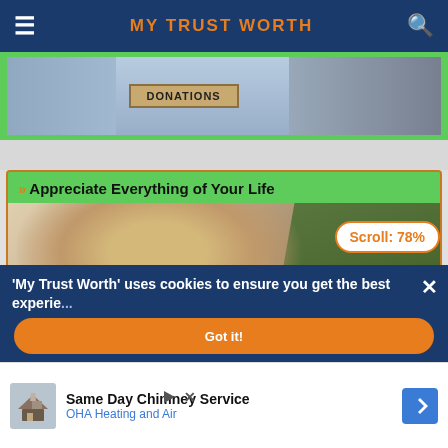MY TRUST WORTH
[Figure (photo): Partial view of a donations box scene with people in background]
Appreciate Everything of Your Life
[Figure (photo): Young blonde woman smelling red flowers near green plant]
Scroll: 78%
'My Trust Worth' uses cookies to ensure you get the best experie...
[Figure (infographic): Advertisement: Same Day Chimney Service - OHA Heating and Air]